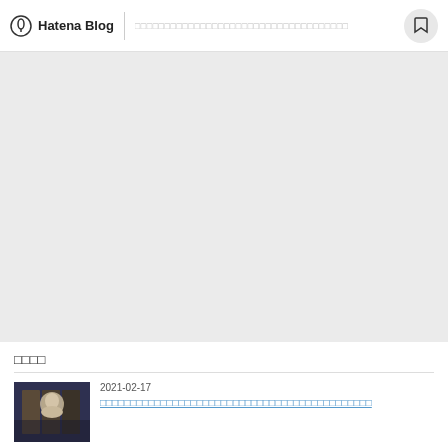Hatena Blog  □□□□□□□□□□□□□□□□□□□□□□□□□□□□□□□□□□□□
[Figure (other): Large light gray hero/banner area below the header navigation bar]
□□□□
2021-02-17
□□□□□□□□□□□□□□□□□□□□□□□□□□□□□□□□□□□□□□□□□□□□□